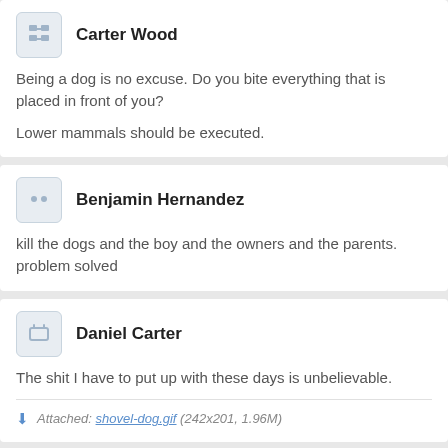Carter Wood
Being a dog is no excuse. Do you bite everything that is placed in front of you?

Lower mammals should be executed.
Benjamin Hernandez
kill the dogs and the boy and the owners and the parents. problem solved
Daniel Carter
The shit I have to put up with these days is unbelievable.
Attached: shovel-dog.gif (242x201, 1.96M)
Joseph Butler
Parents 79% to blame for not making back yard toddler...